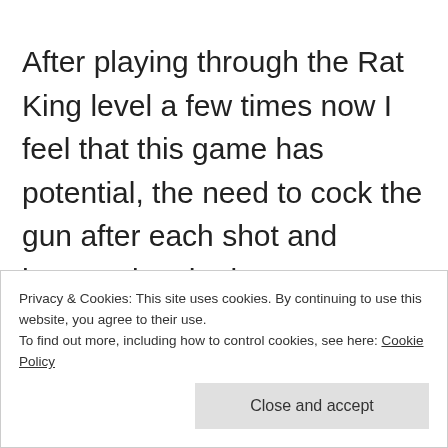After playing through the Rat King level a few times now I feel that this game has potential, the need to cock the gun after each shot and hammering the button to reload each bullet into the gun adds pressure and intensity to the gun fighting.  Knowing that just one bullet is enough to send you back to the start of the level, the game becomes a cross between a stealth game and a
Privacy & Cookies: This site uses cookies. By continuing to use this website, you agree to their use.
To find out more, including how to control cookies, see here: Cookie Policy
Close and accept